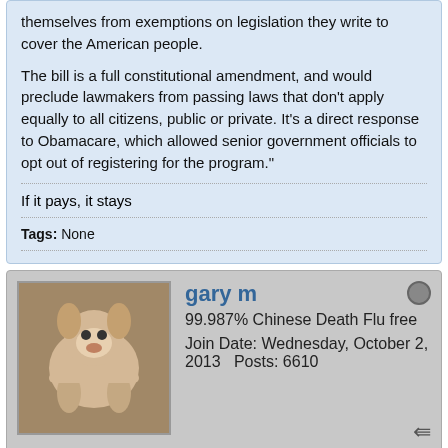themselves from exemptions on legislation they write to cover the American people.
The bill is a full constitutional amendment, and would preclude lawmakers from passing laws that don't apply equally to all citizens, public or private. It's a direct response to Obamacare, which allowed senior government officials to opt out of registering for the program."
If it pays, it stays
Tags: None
gary m
99.987% Chinese Death Flu free
Join Date: Wednesday, October 2, 2013   Posts: 6610
Thursday, October 24, 2013, 1:06 PM   #2
Yeah, like that stands a snowballs chance in Hell of passing. Probably could not get it through the states either as most of the state pols dream of one day being a Federal pol and would not want to take the chance that it may one day actually apply to them.

This aside from the fact that if the Federal government truly thought